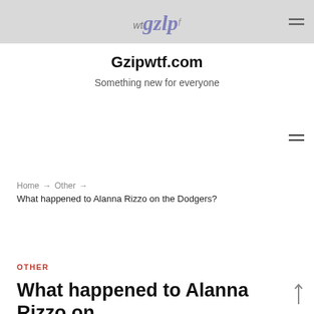wtgzipf — Gzipwtf.com
Gzipwtf.com
Something new for everyone
Home → Other → What happened to Alanna Rizzo on the Dodgers?
OTHER
What happened to Alanna Rizzo on